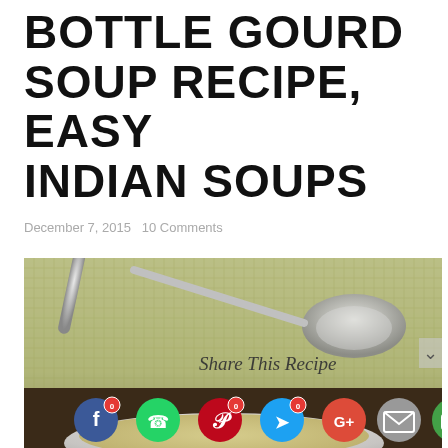BOTTLE GOURD SOUP RECIPE, EASY INDIAN SOUPS
December 7, 2015  10 Comments
[Figure (photo): Close-up photo of a bowl of bottle gourd soup with a silver spoon on a green textured mat. Social sharing icons overlay the bottom portion of the image: Facebook (0), WhatsApp, Pinterest (0), Twitter (0), Google+, Email, Print.]